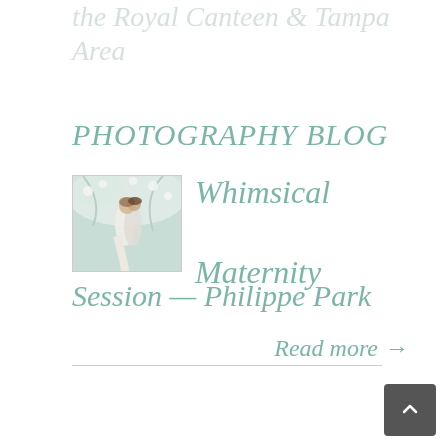the Tampa Greater & Tampa Area
PHOTOGRAPHY BLOG
[Figure (photo): Couple embracing outdoors among white flowering trees, maternity session photo thumbnail]
Whimsical Maternity Session — Philippe Park
Read more →